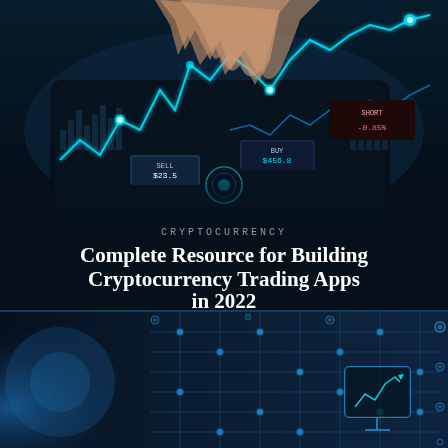[Figure (photo): Dark-themed image showing hands touching a digital tablet with glowing cyan cryptocurrency line charts, trading data, and market indicators overlaid on the screen. The background is dark navy/black with glowing teal/blue chart lines forming a volatile upward trend.]
CRYPTOCURRENCY
Complete Resource for Building Cryptocurrency Trading Apps in 2022
[Figure (photo): Dark blue digital technology background with glowing circuit board lines, nodes, and a monitor/screen icon displaying an upward trend chart on the right side. Abstract tech background with bokeh lights.]